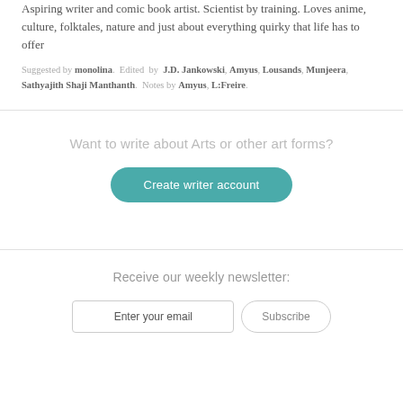Aspiring writer and comic book artist. Scientist by training. Loves anime, culture, folktales, nature and just about everything quirky that life has to offer
Suggested by monolina. Edited by J.D. Jankowski, Amyus, Lousands, Munjeera, Sathyajith Shaji Manthanth. Notes by Amyus, L:Freire.
Want to write about Arts or other art forms?
Create writer account
Receive our weekly newsletter:
Enter your email
Subscribe